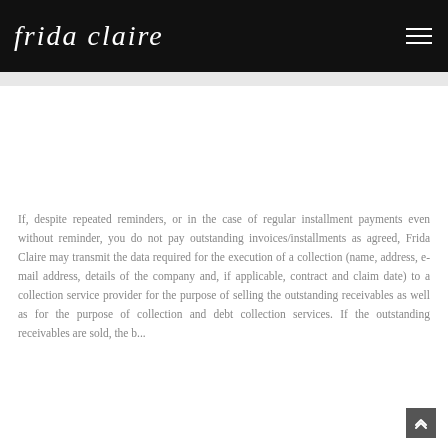frida claire
If, despite repeated reminders, or in the case of regular installment payments even without reminder, you do not pay outstanding invoices/installments as agreed, Frida Claire may transmit the data required for the execution of a collection (name, address, e-mail address, details of the company and, if applicable, contract and claim date) to a collection service provider for the purpose of selling the outstanding receivables as well as for the purpose of collection and debt collection services. If the outstanding receivables are sold, the...